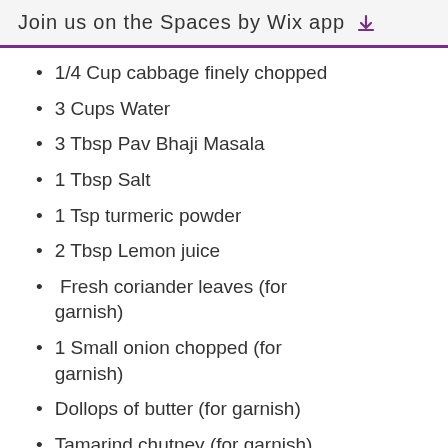Join us on the Spaces by Wix app
1/4 Cup cabbage finely chopped
3 Cups Water
3 Tbsp Pav Bhaji Masala
1 Tbsp Salt
1 Tsp turmeric powder
2 Tbsp Lemon juice
Fresh coriander leaves (for garnish)
1 Small onion chopped (for garnish)
Dollops of butter (for garnish)
Tamarind chutney (for garnish), optional
12 Pav/Bread rolls